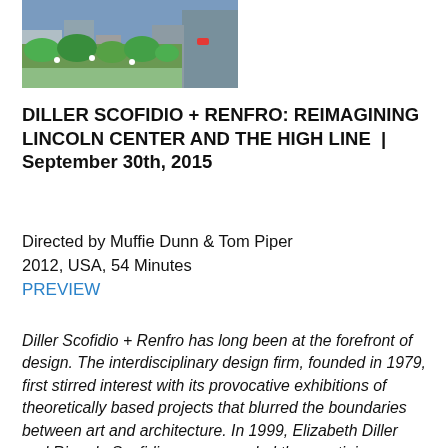[Figure (photo): Aerial view of a green urban space, likely the High Line, showing people walking among plants and greenery with buildings in the background.]
DILLER SCOFIDIO + RENFRO: REIMAGINING LINCOLN CENTER AND THE HIGH LINE  |  September 30th, 2015
Directed by Muffie Dunn & Tom Piper
2012, USA, 54 Minutes
PREVIEW
Diller Scofidio + Renfro has long been at the forefront of design. The interdisciplinary design firm, founded in 1979, first stirred interest with its provocative exhibitions of theoretically based projects that blurred the boundaries between art and architecture. In 1999, Elizabeth Diller and Ricardo Scofidio, were awarded the prestigious “genius” grant by the MacArthur Foundation, in recognition of their